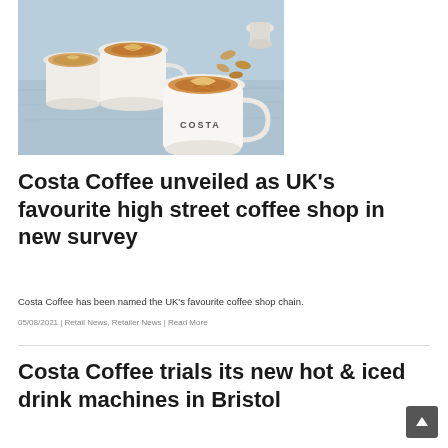[Figure (photo): Three Costa Coffee branded white mugs with latte art on a light blue wooden surface, with almonds and a coffee capsule scattered around]
Costa Coffee unveiled as UK's favourite high street coffee shop in new survey
Costa Coffee has been named the UK's favourite coffee shop chain.
05/08/2021 | Retail News, Retailer News | Read More
Costa Coffee trials its new hot & iced drink machines in Bristol